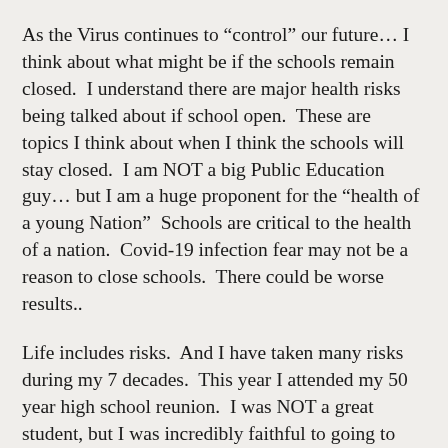As the Virus continues to “control” our future… I think about what might be if the schools remain closed.  I understand there are major health risks being talked about if school open.  These are topics I think about when I think the schools will stay closed.  I am NOT a big Public Education guy… but I am a huge proponent for the “health of a young Nation”  Schools are critical to the health of a nation.  Covid-19 infection fear may not be a reason to close schools.  There could be worse results..
Life includes risks.  And I have taken many risks during my 7 decades.  This year I attended my 50 year high school reunion.  I was NOT a great student, but I was incredibly faithful to going to school.  If memory serves me… I missed almost no days of class over my 13 year history of Public education.  I am not sure what I learned, I am certain that whatever it was, living in the